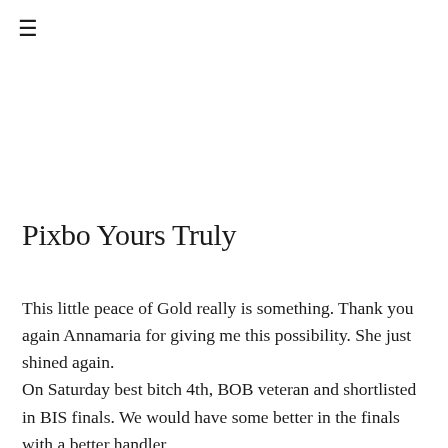≡
Pixbo Yours Truly
This little peace of Gold really is something. Thank you again Annamaria for giving me this possibility. She just shined again.
On Saturday best bitch 4th, BOB veteran and shortlisted in BIS finals. We would have some better in the finals with a better handler...
On Sunday BOB veteran again and second in the best bitch competition was huge. It is always great to show